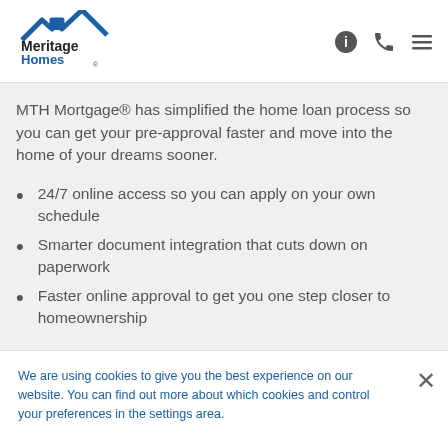[Figure (logo): Meritage Homes logo with house roof icon in blue and black text]
MTH Mortgage® has simplified the home loan process so you can get your pre-approval faster and move into the home of your dreams sooner.
24/7 online access so you can apply on your own schedule
Smarter document integration that cuts down on paperwork
Faster online approval to get you one step closer to homeownership
We are using cookies to give you the best experience on our website. You can find out more about which cookies and control your preferences in the settings area.
Read More